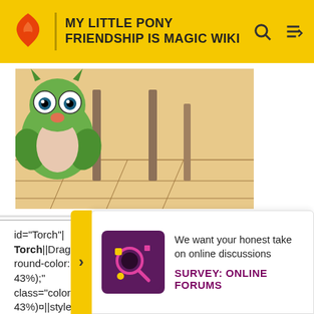MY LITTLE PONY FRIENDSHIP IS MAGIC WIKI
[Figure (illustration): Cartoon illustration of an owl-like character with large eyes, green wings/body, and a pink beak, shown near furniture legs on a brown floor.]
id="Torch"|
Torch||Dragon||M||style="background-color:hsl(190, 26%, 43%);"
class="colorcell"|hsl(190, 26%, 43%)¤||style="background-color:hsl(49, 58%, 70%);color:hsl(13, 38%, 51%)"
class="colorcell"|hsl(49, 58%, 70%)
col
clas
38%
05
[Figure (infographic): Survey promotion popup: purple/magenta square icon with magnifying glass graphic, text 'We want your honest take on online discussions' and bold heading 'SURVEY: ONLINE FORUMS']